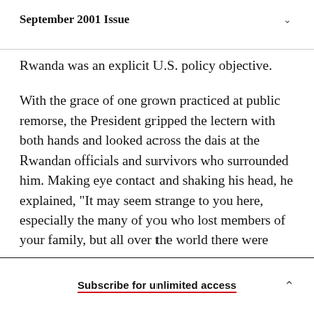September 2001 Issue
Rwanda was an explicit U.S. policy objective.
With the grace of one grown practiced at public remorse, the President gripped the lectern with both hands and looked across the dais at the Rwandan officials and survivors who surrounded him. Making eye contact and shaking his head, he explained, "It may seem strange to you here, especially the many of you who lost members of your family, but all over the world there were
Subscribe for unlimited access